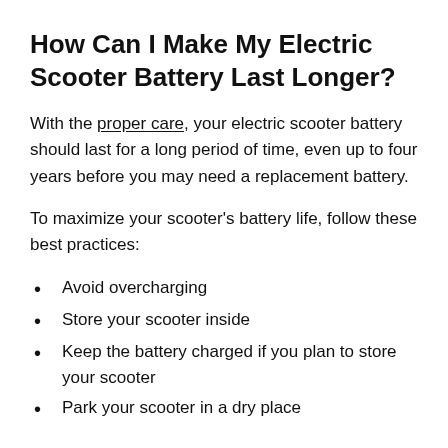How Can I Make My Electric Scooter Battery Last Longer?
With the proper care, your electric scooter battery should last for a long period of time, even up to four years before you may need a replacement battery.
To maximize your scooter's battery life, follow these best practices:
Avoid overcharging
Store your scooter inside
Keep the battery charged if you plan to store your scooter
Park your scooter in a dry place